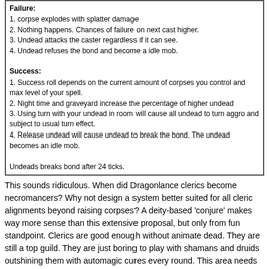Failure:
1. corpse explodes with splatter damage
2. Nothing happens. Chances of failure on next cast higher.
3. Undead attacks the caster regardless if it can see.
4. Undead refuses the bond and become a idle mob.

Success:
1. Success roll depends on the current amount of corpses you control and max level of your spell.
2. Night time and graveyard increase the percentage of higher undead
3. Using turn with your undead in room will cause all undead to turn aggro and subject to usual turn effect.
4. Release undead will cause undead to break the bond. The undead becomes an idle mob.

Undeads breaks bond after 24 ticks.
This sounds ridiculous. When did Dragonlance clerics become necromancers? Why not design a system better suited for all cleric alignments beyond raising corpses? A deity-based 'conjure' makes way more sense than this extensive proposal, but only from fun standpoint. Clerics are good enough without animate dead. They are still a top guild. They are just boring to play with shamans and druids outshining them with automagic cures every round. This area needs more attention than necrophilia.
Title: Re: Animate broken
Post by: Jorake on February 04, 2021, 01:06:57 PM
Diety based conjure is the gate spell.

This got out of hand I think.